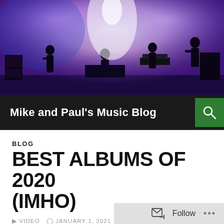[Figure (photo): Concert stage photo with musicians performing under purple and white stage lighting]
Mike and Paul's Music Blog
BLOG
BEST ALBUMS OF 2020 (IMHO)
VIDEO  JANUARY 1, 2021  MIKEANDPAULSMUSICBLOG  8 COMMENTS
I've been doing a top ten albums list for almost 10